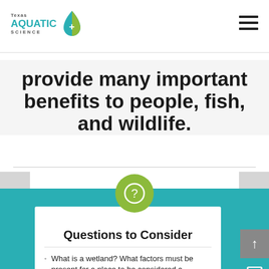Texas Aquatic Science
provide many important benefits to people, fish, and wildlife.
Questions to Consider
What is a wetland? What factors must be present for a place to be considered a